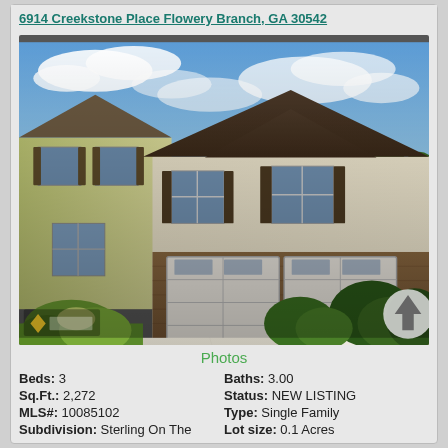6914 Creekstone Place Flowery Branch, GA 30542
[Figure (photo): Exterior photo of a two-story single family home with two-car garage, brick and siding exterior, blue sky with clouds, green landscaping and shrubs]
Photos
Beds: 3   Baths: 3.00
Sq.Ft.: 2,272   Status: NEW LISTING
MLS#: 10085102   Type: Single Family
Subdivision: Sterling On The   Lot size: 0.1 Acres